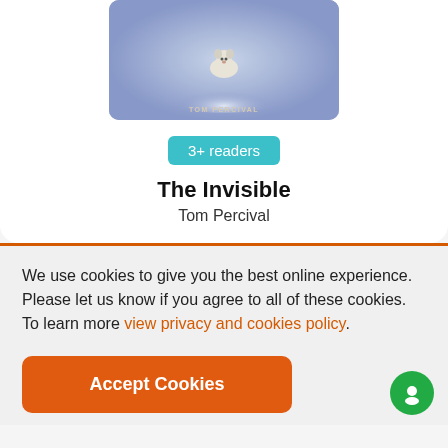[Figure (illustration): Book cover for 'The Invisible' by Tom Percival showing a small dog on a snowy/misty background with blue-purple tones]
3+ readers
The Invisible
Tom Percival
We use cookies to give you the best online experience. Please let us know if you agree to all of these cookies. To learn more view privacy and cookies policy.
Accept Cookies